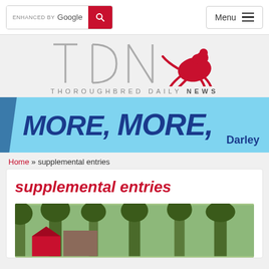ENHANCED BY Google [search button] Menu [hamburger]
[Figure (logo): TDN Thoroughbred Daily News logo with horse jockey silhouette in red]
[Figure (infographic): Darley advertisement banner: MORE, MORE, in large bold italic blue text on light blue background with Darley branding]
Home » supplemental entries
supplemental entries
[Figure (photo): Outdoor photo showing trees and a red tent/canopy structure]